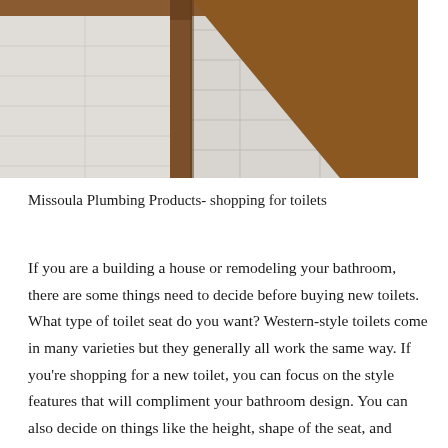[Figure (photo): Bathroom interior photo showing a wood-framed mirror or furniture piece against white subway tile wall. Brown wooden frame visible diagonally, white tile background.]
Missoula Plumbing Products- shopping for toilets
If you are a building a house or remodeling your bathroom, there are some things need to decide before buying new toilets. What type of toilet seat do you want? Western-style toilets come in many varieties but they generally all work the same way. If you're shopping for a new toilet, you can focus on the style features that will compliment your bathroom design. You can also decide on things like the height, shape of the seat, and added features like high efficiency and dual